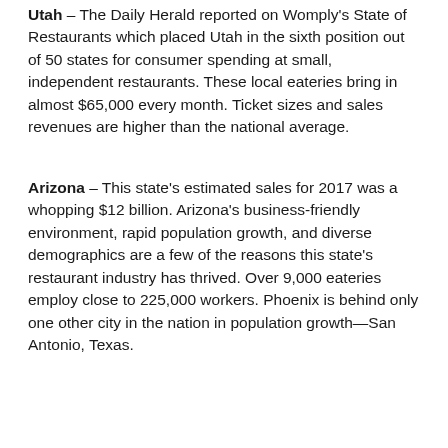Utah – The Daily Herald reported on Womply's State of Restaurants which placed Utah in the sixth position out of 50 states for consumer spending at small, independent restaurants. These local eateries bring in almost $65,000 every month. Ticket sizes and sales revenues are higher than the national average.
Arizona – This state's estimated sales for 2017 was a whopping $12 billion. Arizona's business-friendly environment, rapid population growth, and diverse demographics are a few of the reasons this state's restaurant industry has thrived. Over 9,000 eateries employ close to 225,000 workers. Phoenix is behind only one other city in the nation in population growth—San Antonio, Texas.